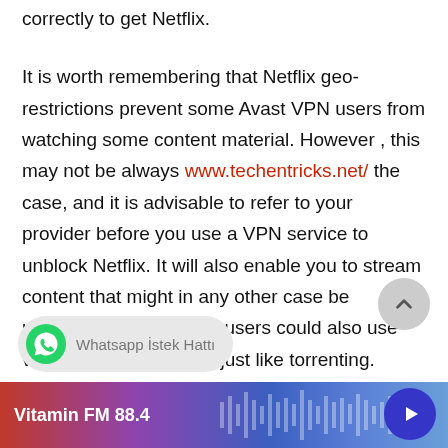correctly to get Netflix.
It is worth remembering that Netflix geo-restrictions prevent some Avast VPN users from watching some content material. However , this may not be always www.techentricks.net/ the case, and it is advisable to refer to your provider before you use a VPN service to unblock Netflix. It will also enable you to stream content that might in any other case be unavailable. Avast VPN users could also use various other methods, just like torrenting.
[Figure (other): WhatsApp İstek Hattı chat widget button]
[Figure (other): Vitamin FM 88.4 radio player bar with waveform and play button]